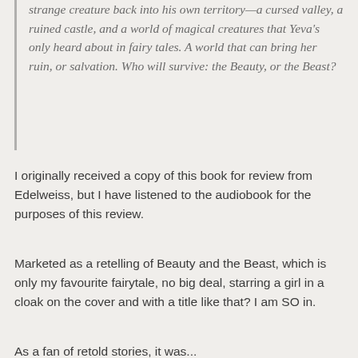strange creature back into his own territory—a cursed valley, a ruined castle, and a world of magical creatures that Yeva's only heard about in fairy tales. A world that can bring her ruin, or salvation. Who will survive: the Beauty, or the Beast?
I originally received a copy of this book for review from Edelweiss, but I have listened to the audiobook for the purposes of this review.
Marketed as a retelling of Beauty and the Beast, which is only my favourite fairytale, no big deal, starring a girl in a cloak on the cover and with a title like that? I am SO in.
As a fan of retold stories, it was...